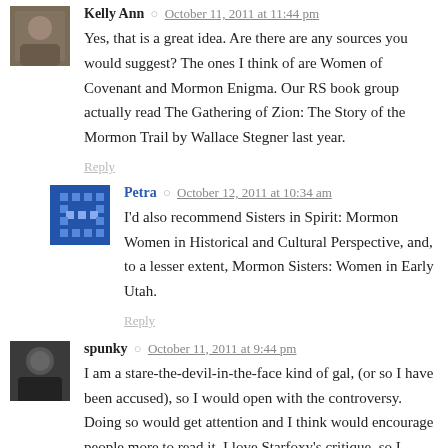Kelly Ann · October 11, 2011 at 11:44 pm
Yes, that is a great idea. Are there are any sources you would suggest? The ones I think of are Women of Covenant and Mormon Enigma. Our RS book group actually read The Gathering of Zion: The Story of the Mormon Trail by Wallace Stegner last year.
Reply
Petra · October 12, 2011 at 10:34 am
I'd also recommend Sisters in Spirit: Mormon Women in Historical and Cultural Perspective, and, to a lesser extent, Mormon Sisters: Women in Early Utah.
Reply
spunky · October 11, 2011 at 9:44 pm
I am a stare-the-devil-in-the-face kind of gal, (or so I have been accused), so I would open with the controversy. Doing so would get attention and I think would encourage people more to read it. I love Starfoxy's critique, so I would address